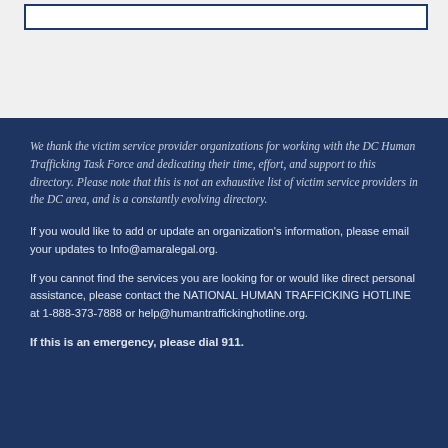We thank the victim service provider organizations for working with the DC Human Trafficking Task Force and dedicating their time, effort, and support to this directory. Please note that this is not an exhaustive list of victim service providers in the DC area, and is a constantly evolving directory.
If you would like to add or update an organization's information, please email your updates to Info@amaralegal.org.
If you cannot find the services you are looking for or would like direct personal assistance, please contact the NATIONAL HUMAN TRAFFICKING HOTLINE at 1-888-373-7888 or help@humantraffickinghotline.org.
If this is an emergency, please dial 911.